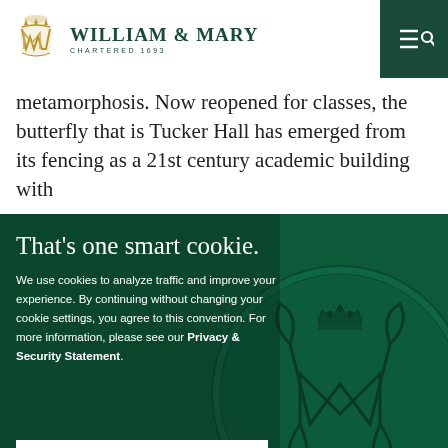William & Mary — Chartered 1693
metamorphosis. Now reopened for classes, the butterfly that is Tucker Hall has emerged from its fencing as a 21st century academic building with
That's one smart cookie.
We use cookies to analyze traffic and improve your experience. By continuing without changing your cookie settings, you agree to this convention. For more information, please see our Privacy & Security Statement.
OK, GOT IT